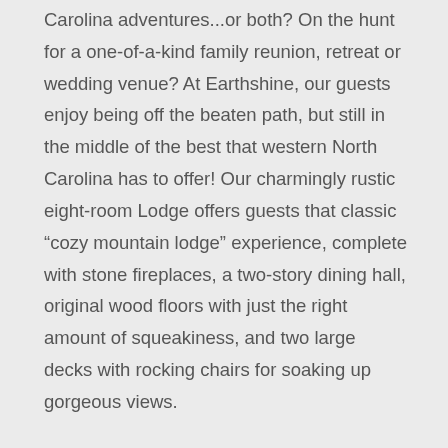Carolina adventures...or both? On the hunt for a one-of-a-kind family reunion, retreat or wedding venue? At Earthshine, our guests enjoy being off the beaten path, but still in the middle of the best that western North Carolina has to offer! Our charmingly rustic eight-room Lodge offers guests that classic “cozy mountain lodge” experience, complete with stone fireplaces, a two-story dining hall, original wood floors with just the right amount of squeakiness, and two large decks with rocking chairs for soaking up gorgeous views.
Each cozy Lodge room sleeps four and has mountain or forest views, a comfortable queen